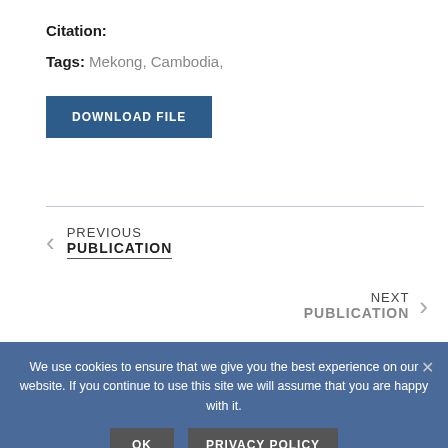Citation:
Tags: Mekong, Cambodia,
DOWNLOAD FILE
PREVIOUS PUBLICATION
NEXT PUBLICATION
We use cookies to ensure that we give you the best experience on our website. If you continue to use this site we will assume that you are happy with it.
OK
PRIVACY POLICY
RELATED PUBLICATIONS